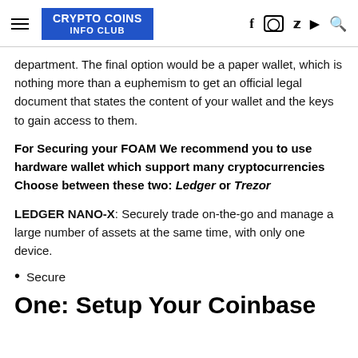CRYPTO COINS INFO CLUB
department. The final option would be a paper wallet, which is nothing more than a euphemism to get an official legal document that states the content of your wallet and the keys to gain access to them.
For Securing your FOAM We recommend you to use hardware wallet which support many cryptocurrencies Choose between these two: Ledger or Trezor
LEDGER NANO-X: Securely trade on-the-go and manage a large number of assets at the same time, with only one device.
Secure
One: Setup Your Coinbase